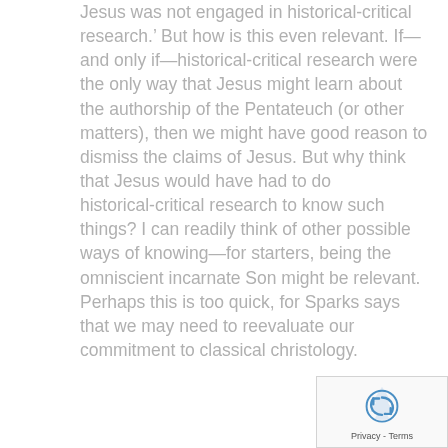Jesus was not engaged in historical-critical research.' But how is this even relevant. If—and only if—historical-critical research were the only way that Jesus might learn about the authorship of the Pentateuch (or other matters), then we might have good reason to dismiss the claims of Jesus. But why think that Jesus would have had to do historical-critical research to know such things? I can readily think of other possible ways of knowing—for starters, being the omniscient incarnate Son might be relevant. Perhaps this is too quick, for Sparks says that we may need to reevaluate our commitment to classical christology.
[Figure (other): reCAPTCHA badge widget showing a recycling-arrow logo and 'Privacy - Terms' text]